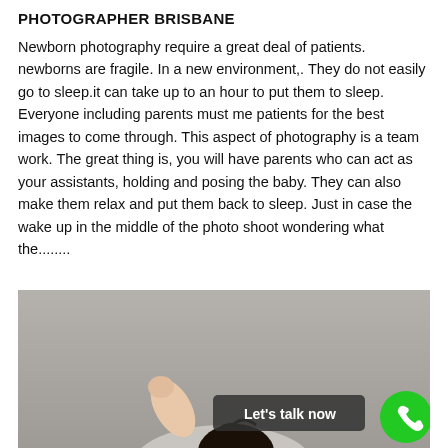PHOTOGRAPHER BRISBANE
Newborn photography require a great deal of patients. newborns are fragile. In a new environment,. They do not easily go to sleep.it can take up to an hour to put them to sleep. Everyone including parents must me patients for the best images to come through. This aspect of photography is a team work. The great thing is, you will have parents who can act as your assistants, holding and posing the baby. They can also make them relax and put them back to sleep. Just in case the wake up in the middle of the photo shoot wondering what the........
[Figure (photo): Photo of a newborn baby with arm raised and dark hair visible at bottom, with a 'Let's talk now' button overlay and green phone icon circle in the bottom right corner.]